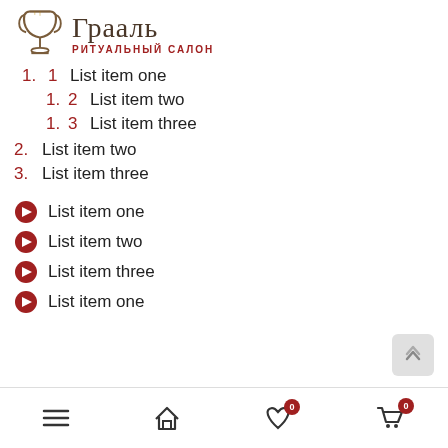Грааль — РИТУАЛЬНЫЙ САЛОН
1. 1  List item one
1. 2  List item two
1. 3  List item three
2.  List item two
3.  List item three
➔  List item one
➔  List item two
➔  List item three
➔  List item one
≡  🏠  ♡ 0  🛒 0